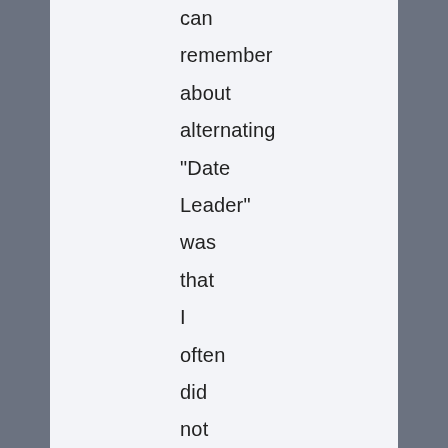can remember about alternating "Date Leader" was that I often did not feel very creative and felt a burden coming up with a new idea on my turn. Although we